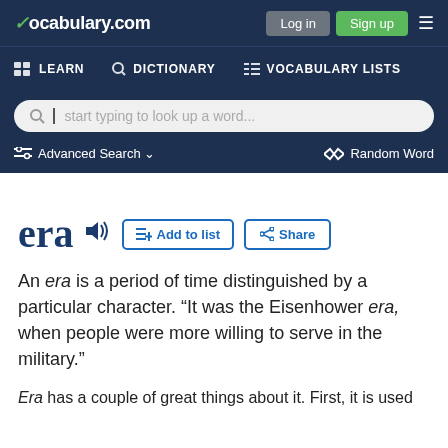vocabulary.com — Log in | Sign up | LEARN | DICTIONARY | VOCABULARY LISTS
[Figure (screenshot): Vocabulary.com website header with navigation bar showing LEARN, DICTIONARY, VOCABULARY LISTS, a search box with placeholder 'start typing to look up a word...', Advanced Search and Random Word options]
era
An era is a period of time distinguished by a particular character. “It was the Eisenhower era, when people were more willing to serve in the military.”
Era has a couple of great things about it. First, it is used